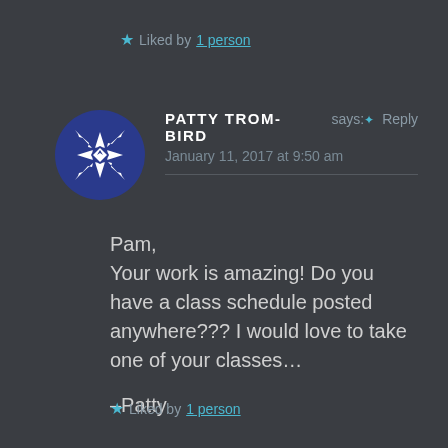★ Liked by 1 person
[Figure (logo): Blue and white geometric star/snowflake pattern avatar for Patty Trom-Bird]
PATTY TROM-BIRD says: Reply
January 11, 2017 at 9:50 am
Pam,
Your work is amazing! Do you have a class schedule posted anywhere??? I would love to take one of your classes…

–Patty
★ Liked by 1 person